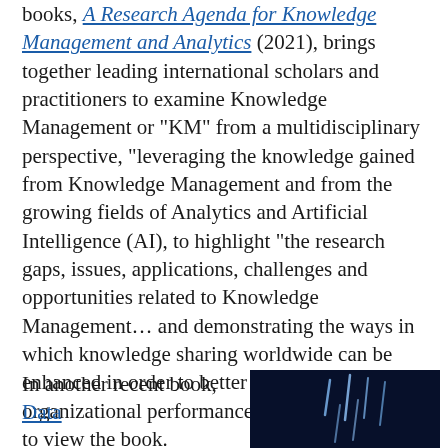books, A Research Agenda for Knowledge Management and Analytics (2021), brings together leading international scholars and practitioners to examine Knowledge Management or "KM" from a multidisciplinary perspective, "leveraging the knowledge gained from Knowledge Management and from the growing fields of Analytics and Artificial Intelligence (AI), to highlight "the research gaps, issues, applications, challenges and opportunities related to Knowledge Management... and demonstrating the ways in which knowledge sharing worldwide can be enhanced in order to better society and improve organizational performance." Please click here to view the book.
In another recent book, Data...
[Figure (photo): Dark background image with light blue diagonal lines/streaks suggesting data or network visualization]